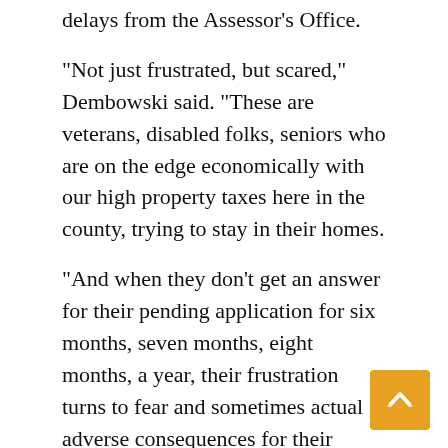delays from the Assessor’s Office.
“Not just frustrated, but scared,” Dembowski said. “These are veterans, disabled folks, seniors who are on the edge economically with our high property taxes here in the county, trying to stay in their homes.
“And when they don’t get an answer for their pending application for six months, seven months, eight months, a year, their frustration turns to fear and sometimes actual adverse consequences for their housing stability,” Dembowski said.
Kay Landolt first began trying to get her property tax exemption in the beginning of March 2020, but she found she could only apply online. She found the online program inoperable — it required her full